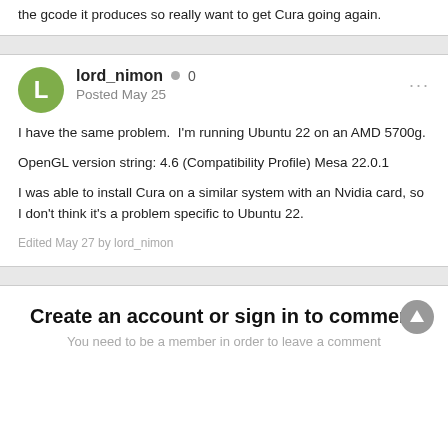the gcode it produces so really want to get Cura going again.
lord_nimon · 0
Posted May 25
I have the same problem.  I'm running Ubuntu 22 on an AMD 5700g.

OpenGL version string: 4.6 (Compatibility Profile) Mesa 22.0.1

I was able to install Cura on a similar system with an Nvidia card, so I don't think it's a problem specific to Ubuntu 22.
Edited May 27 by lord_nimon
Create an account or sign in to comment
You need to be a member in order to leave a comment